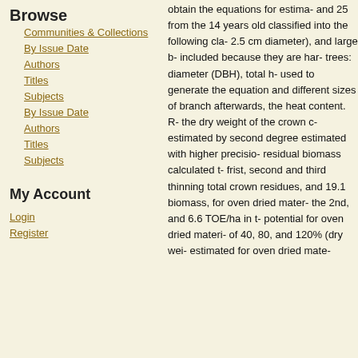Browse
Communities & Collections
By Issue Date
Authors
Titles
Subjects
By Issue Date
Authors
Titles
Subjects
My Account
Login
Register
obtain the equations for estima- and 25 from the 14 years old classified into the following cla- 2.5 cm diameter), and large b- included because they are har- trees: diameter (DBH), total h- used to generate the equation and different sizes of branch afterwards, the heat content. R- the dry weight of the crown c- estimated by second degree estimated with higher precisio- residual biomass calculated t- frist, second and third thinning total crown residues, and 19.1 biomass, for oven dried mater- the 2nd, and 6.6 TOE/ha in t- potential for oven dried materi- of 40, 80, and 120% (dry wei- estimated for oven dried mate-